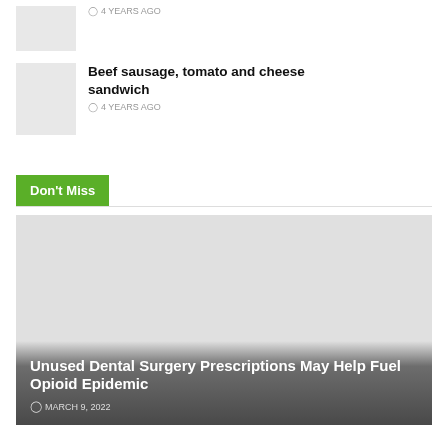[Figure (photo): Thumbnail placeholder image for article]
4 YEARS AGO
[Figure (photo): Thumbnail placeholder image for Beef sausage article]
Beef sausage, tomato and cheese sandwich
4 YEARS AGO
Don't Miss
[Figure (photo): Large featured article image placeholder]
Unused Dental Surgery Prescriptions May Help Fuel Opioid Epidemic
MARCH 9, 2022